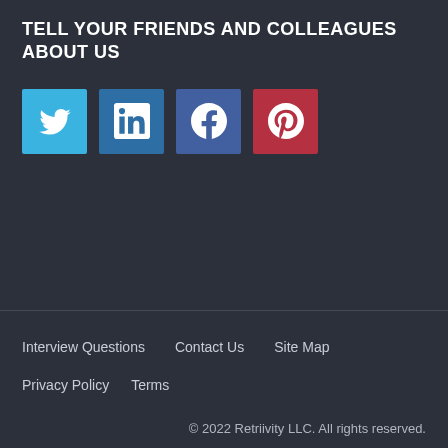TELL YOUR FRIENDS AND COLLEAGUES ABOUT US
[Figure (infographic): Four social media icon buttons: Twitter (blue), LinkedIn (dark blue), Facebook (dark blue-purple), Pinterest (red)]
Interview Questions   Contact Us   Site Map
Privacy Policy   Terms
© 2022 Retriivity LLC. All rights reserved.